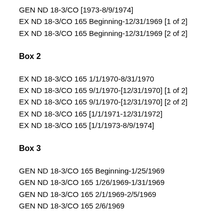GEN ND 18-3/CO [1973-8/9/1974]
EX ND 18-3/CO 165 Beginning-12/31/1969 [1 of 2]
EX ND 18-3/CO 165 Beginning-12/31/1969 [2 of 2]
Box 2
EX ND 18-3/CO 165 1/1/1970-8/31/1970
EX ND 18-3/CO 165 9/1/1970-[12/31/1970] [1 of 2]
EX ND 18-3/CO 165 9/1/1970-[12/31/1970] [2 of 2]
EX ND 18-3/CO 165 [1/1/1971-12/31/1972]
EX ND 18-3/CO 165 [1/1/1973-8/9/1974]
Box 3
GEN ND 18-3/CO 165 Beginning-1/25/1969
GEN ND 18-3/CO 165 1/26/1969-1/31/1969
GEN ND 18-3/CO 165 2/1/1969-2/5/1969
GEN ND 18-3/CO 165 2/6/1969